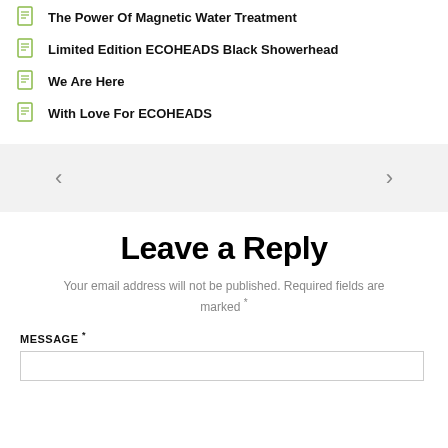The Power Of Magnetic Water Treatment
Limited Edition ECOHEADS Black Showerhead
We Are Here
With Love For ECOHEADS
[Figure (other): Navigation arrows (< and >) on a light gray background for previous/next navigation]
Leave a Reply
Your email address will not be published. Required fields are marked *
MESSAGE *